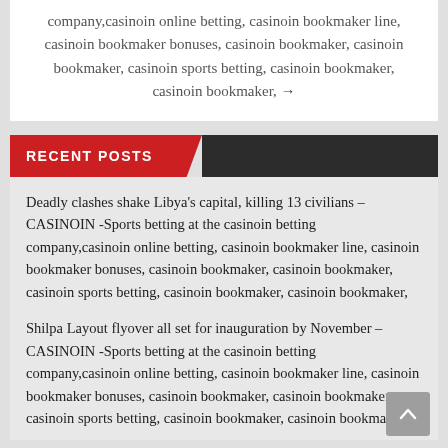company,casinoin online betting, casinoin bookmaker line, casinoin bookmaker bonuses, casinoin bookmaker, casinoin bookmaker, casinoin sports betting, casinoin bookmaker, casinoin bookmaker, →
RECENT POSTS
Deadly clashes shake Libya's capital, killing 13 civilians – CASINOIN -Sports betting at the casinoin betting company,casinoin online betting, casinoin bookmaker line, casinoin bookmaker bonuses, casinoin bookmaker, casinoin bookmaker, casinoin sports betting, casinoin bookmaker, casinoin bookmaker,
Shilpa Layout flyover all set for inauguration by November – CASINOIN -Sports betting at the casinoin betting company,casinoin online betting, casinoin bookmaker line, casinoin bookmaker bonuses, casinoin bookmaker, casinoin bookmaker, casinoin sports betting, casinoin bookmaker, casinoin bookmaker,